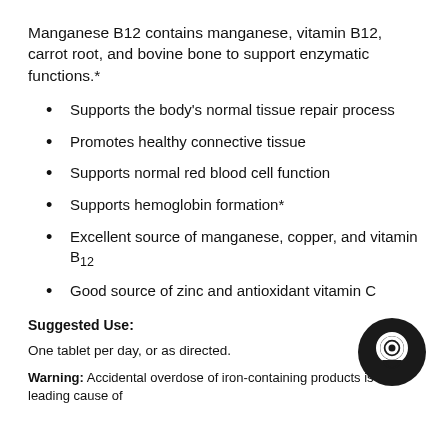Manganese B12 contains manganese, vitamin B12, carrot root, and bovine bone to support enzymatic functions.*
Supports the body's normal tissue repair process
Promotes healthy connective tissue
Supports normal red blood cell function
Supports hemoglobin formation*
Excellent source of manganese, copper, and vitamin B12
Good source of zinc and antioxidant vitamin C
Suggested Use:
One tablet per day, or as directed.
Warning: Accidental overdose of iron-containing products is a leading cause of fatal poisoning in children under 6. Keep this product out of reach of children.